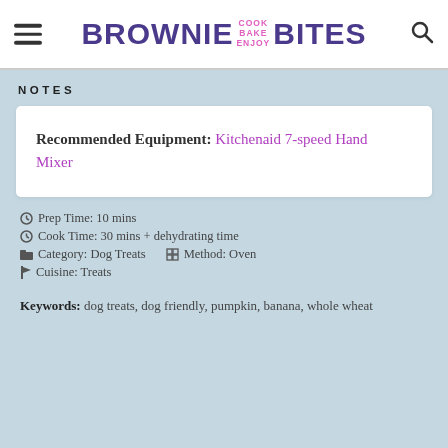BROWNIE COOK BAKE ENJOY BITES
NOTES
Recommended Equipment: Kitchenaid 7-speed Hand Mixer
Prep Time: 10 mins
Cook Time: 30 mins + dehydrating time
Category: Dog Treats  Method: Oven
Cuisine: Treats
Keywords: dog treats, dog friendly, pumpkin, banana, whole wheat